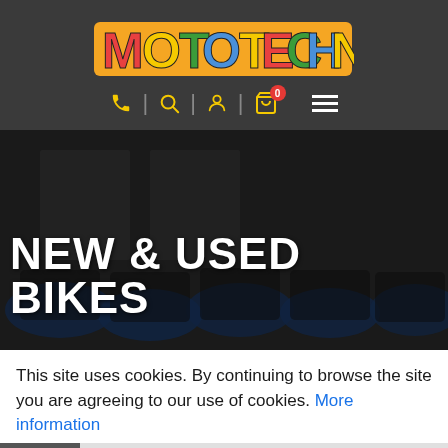[Figure (logo): MotoTechniks colorful logo with multi-colored letters on orange banner background]
[Figure (screenshot): Navigation bar with yellow phone icon, search icon, user icon, cart icon with 0 badge, and hamburger menu on dark background]
[Figure (photo): Hero image showing row of motorcycles in a showroom with dark overlay, large white bold text reading NEW & USED BIKES]
This site uses cookies. By continuing to browse the site you are agreeing to our use of cookies. More information
Continue